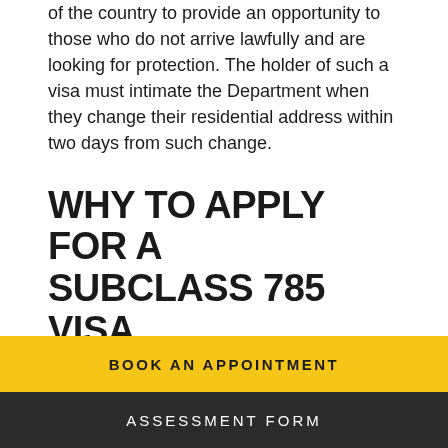of the country to provide an opportunity to those who do not arrive lawfully and are looking for protection. The holder of such a visa must intimate the Department when they change their residential address within two days from such change.
WHY TO APPLY FOR A SUBCLASS 785 VISA
Subclass 785 visa is a temporary permit to the Country. This visa allows its holders to-
Stay in the country and the shortest eligibility...
BOOK AN APPOINTMENT
ASSESSMENT FORM